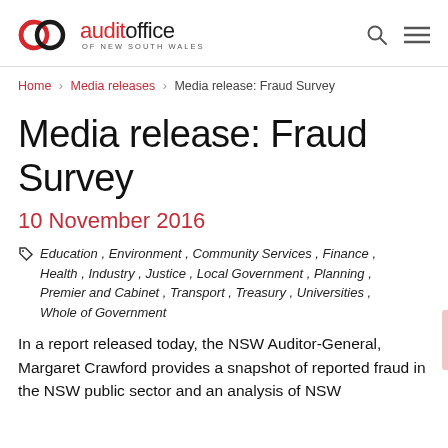[Figure (logo): Audit Office of New South Wales logo — two interlocked rings in red and black, with 'auditoffice' text and 'OF NEW SOUTH WALES' subtitle]
Home > Media releases > Media release: Fraud Survey
Media release: Fraud Survey
10 November 2016
Education , Environment , Community Services , Finance , Health , Industry , Justice , Local Government , Planning , Premier and Cabinet , Transport , Treasury , Universities , Whole of Government
In a report released today, the NSW Auditor-General, Margaret Crawford provides a snapshot of reported fraud in the NSW public sector and an analysis of NSW